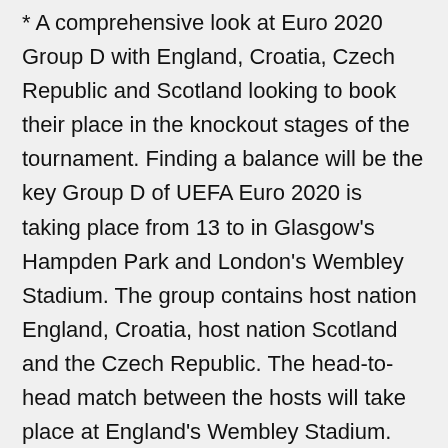* A comprehensive look at Euro 2020 Group D with England, Croatia, Czech Republic and Scotland looking to book their place in the knockout stages of the tournament. Finding a balance will be the key Group D of UEFA Euro 2020 is taking place from 13 to in Glasgow's Hampden Park and London's Wembley Stadium. The group contains host nation England, Croatia, host nation Scotland and the Czech Republic. The head-to-head match between the hosts will take place at England's Wembley Stadium.
The first match is Turkey vs Italy. This Euro will take place in multiple cities across multiple countries in honor of the 60th anniversary of the first Euro. Here is a link to the different groups: Jun 10, 2021 · UEFA Euro 2020 Netherlands vs. Ukraine score: Dutch win despite blowing two goal lead 2021 NBA Playoffs: Suns vs.